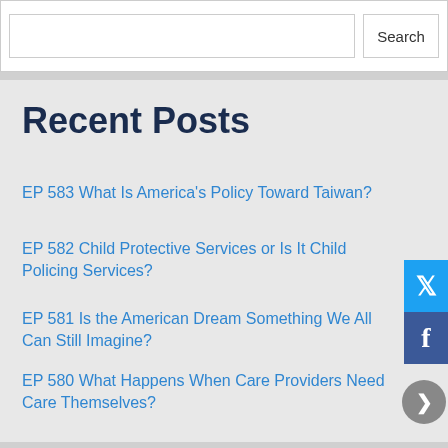Recent Posts
EP 583 What Is America’s Policy Toward Taiwan?
EP 582 Child Protective Services or Is It Child Policing Services?
EP 581 Is the American Dream Something We All Can Still Imagine?
EP 580 What Happens When Care Providers Need Care Themselves?
EP 579 Is the Democratic Party Built to Win in This Moment?